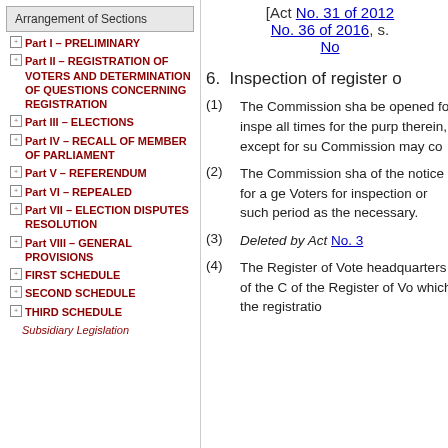Arrangement of Sections
Part I – PRELIMINARY
Part II – REGISTRATION OF VOTERS AND DETERMINATION OF QUESTIONS CONCERNING REGISTRATION
Part III – ELECTIONS
Part IV – RECALL OF MEMBER OF PARLIAMENT
Part V – REFERENDUM
Part VI – REPEALED
Part VII – ELECTION DISPUTES RESOLUTION
Part VIII – GENERAL PROVISIONS
FIRST SCHEDULE
SECOND SCHEDULE
THIRD SCHEDULE
Subsidiary Legislation
[Act No. 31 of 2012, No. 36 of 2016, s. No.
6. Inspection of register o
(1) The Commission sha be opened for inspe all times for the purp therein, except for su Commission may co
(2) The Commission sha of the notice for a ge Voters for inspection or such period as the necessary.
(3) Deleted by Act No. 3
(4) The Register of Vote headquarters of the C of the Register of Vo which the registratio